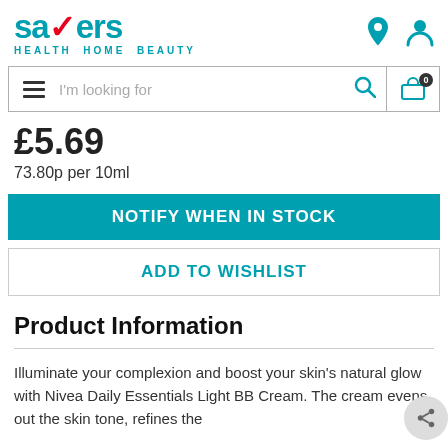savers HEALTH HOME BEAUTY
I'm looking for
£5.69
73.80p per 10ml
NOTIFY WHEN IN STOCK
ADD TO WISHLIST
Product Information
Illuminate your complexion and boost your skin's natural glow with Nivea Daily Essentials Light BB Cream. The cream evens out the skin tone, refines the